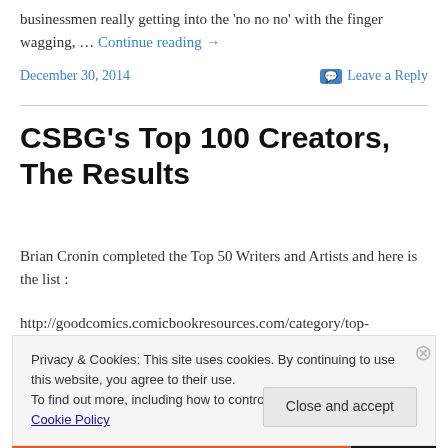businessmen really getting into the 'no no no' with the finger wagging, … Continue reading →
December 30, 2014    Leave a Reply
CSBG's Top 100 Creators, The Results
Brian Cronin completed the Top 50 Writers and Artists and here is the list :
http://goodcomics.comicbookresources.com/category/top-
Privacy & Cookies: This site uses cookies. By continuing to use this website, you agree to their use. To find out more, including how to control cookies, see here: Cookie Policy
Close and accept